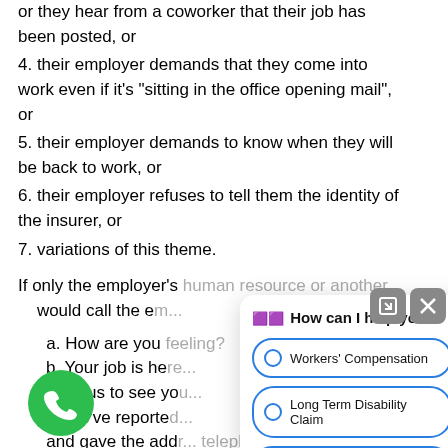or they hear from a coworker that their job has been posted, or
4. their employer demands that they come into work even if it’s “sitting in the office opening mail”, or
5. their employer demands to know when they will be back to work, or
6. their employer refuses to tell them the identity of the insurer, or
7. variations of this theme.
If only the employer’s human resource or another would call the er...
a. How are you feeling?
b. Your job is he... anxious to see you... able
c. We’ve reported... mutual and gave the add... telephone number, claim...
[Figure (screenshot): Chat widget overlay with header 'How can I help you?' and three radio button options: Workers' Compensation, Long Term Disability Claim, Social Security Disability]